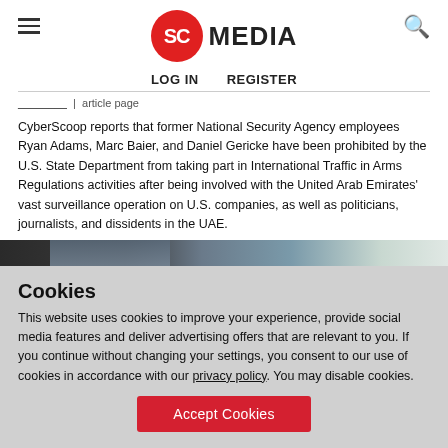SC MEDIA
LOG IN   REGISTER
CyberScoop reports that former National Security Agency employees Ryan Adams, Marc Baier, and Daniel Gericke have been prohibited by the U.S. State Department from taking part in International Traffic in Arms Regulations activities after being involved with the United Arab Emirates' vast surveillance operation on U.S. companies, as well as politicians, journalists, and dissidents in the UAE.
[Figure (photo): Person sitting in front of computer monitors]
Cookies
This website uses cookies to improve your experience, provide social media features and deliver advertising offers that are relevant to you. If you continue without changing your settings, you consent to our use of cookies in accordance with our privacy policy. You may disable cookies.
Accept Cookies